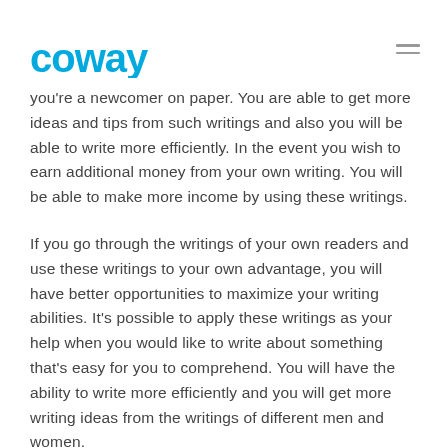coway
you're a newcomer on paper. You are able to get more ideas and tips from such writings and also you will be able to write more efficiently. In the event you wish to earn additional money from your own writing. You will be able to make more income by using these writings.
If you go through the writings of your own readers and use these writings to your own advantage, you will have better opportunities to maximize your writing abilities. It's possible to apply these writings as your help when you would like to write about something that's easy for you to comprehend. You will have the ability to write more efficiently and you will get more writing ideas from the writings of different men and women.